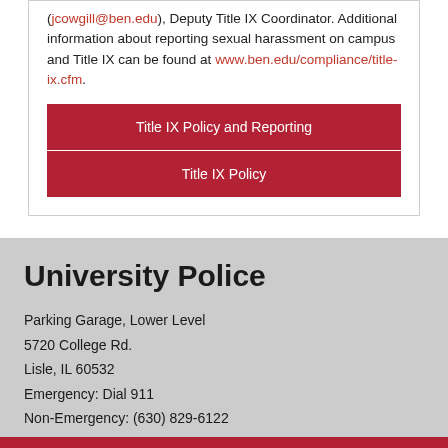(jcowgill@ben.edu), Deputy Title IX Coordinator. Additional information about reporting sexual harassment on campus and Title IX can be found at www.ben.edu/compliance/title-ix.cfm.
Title IX Policy and Reporting
Title IX Policy
University Police
Parking Garage, Lower Level
5720 College Rd.
Lisle, IL 60532
Emergency: Dial 911
Non-Emergency: (630) 829-6122